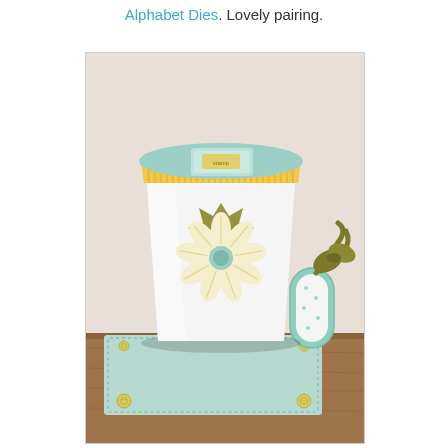Alphabet Dies. Lovely pairing.
[Figure (photo): A decorated cup/mug craft project made from a white cylindrical container. The cup has a yellow striped lid with a mint/teal top, a flower medallion stamp decoration in yellow and olive green on the front, a teal polka-dot handle with an olive green satin ribbon bow. The cup sits on a mint green polka-dot square coaster/mat with small yellow buttons at the corners, placed on a wooden surface.]